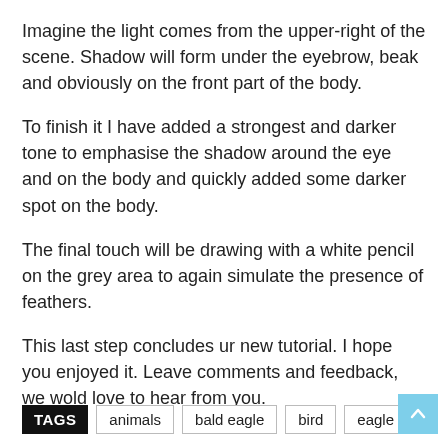Imagine the light comes from the upper-right of the scene. Shadow will form under the eyebrow, beak and obviously on the front part of the body.
To finish it I have added a strongest and darker tone to emphasise the shadow around the eye and on the body and quickly added some darker spot on the body.
The final touch will be drawing with a white pencil on the grey area to again simulate the presence of feathers.
This last step concludes ur new tutorial. I hope you enjoyed it. Leave comments and feedback, we wold love to hear from you.
TAGS   animals   bald eagle   bird   eagle